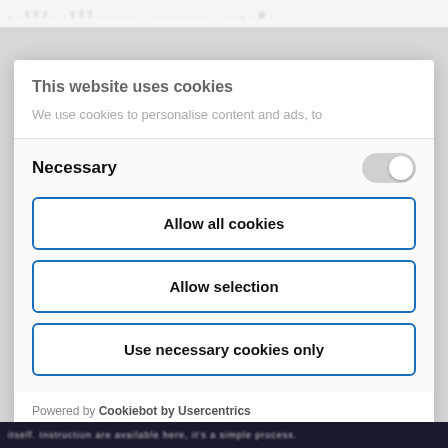...
This website uses cookies
We use cookies to personalise content and ads, to
Necessary
Allow all cookies
Allow selection
Use necessary cookies only
Powered by Cookiebot by Usercentrics
itself. Instruction are available here, it's a simple process.